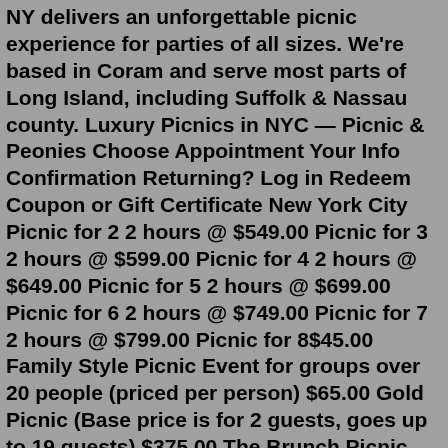NY delivers an unforgettable picnic experience for parties of all sizes. We're based in Coram and serve most parts of Long Island, including Suffolk & Nassau county. Luxury Picnics in NYC — Picnic & Peonies Choose Appointment Your Info Confirmation Returning? Log in Redeem Coupon or Gift Certificate New York City Picnic for 2 2 hours @ $549.00 Picnic for 3 2 hours @ $599.00 Picnic for 4 2 hours @ $649.00 Picnic for 5 2 hours @ $699.00 Picnic for 6 2 hours @ $749.00 Picnic for 7 2 hours @ $799.00 Picnic for 8$45.00 Family Style Picnic Event for groups over 20 people (priced per person) $65.00 Gold Picnic (Base price is for 2 guests, goes up to 19 guests) $375.00 The Brunch Picnic (Base price services 2 guests) $385.00 The Proposal Picnic $425.00 Picnic Setup for 10 People (Food and Beverage not included) $550.00 Social Distance Picnic Party $1,000.00Welcome! Book your own pop-up picnic or luxury tablescape WITHin washington, d.c. and NEW YORK CITY. Celebrate any special event in the DMV +NYC and other with our unique popup fl...